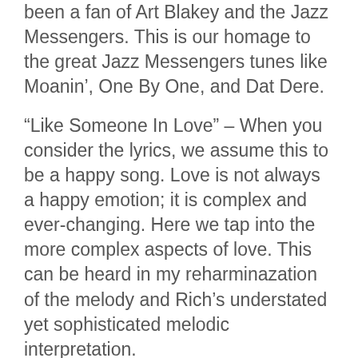been a fan of Art Blakey and the Jazz Messengers. This is our homage to the great Jazz Messengers tunes like Moanin', One By One, and Dat Dere.
“Like Someone In Love” – When you consider the lyrics, we assume this to be a happy song. Love is not always a happy emotion; it is complex and ever-changing. Here we tap into the more complex aspects of love. This can be heard in my reharminazation of the melody and Rich’s understated yet sophisticated melodic interpretation.